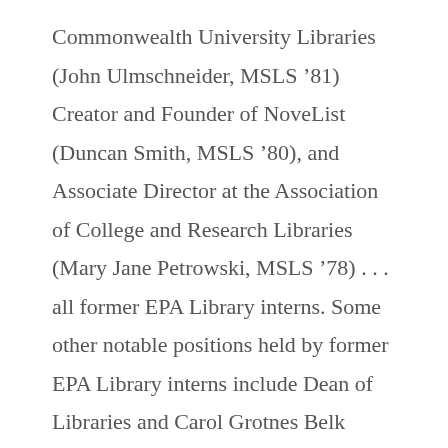Commonwealth University Libraries (John Ulmschneider, MSLS ’81) Creator and Founder of NoveList (Duncan Smith, MSLS ’80), and Associate Director at the Association of College and Research Libraries (Mary Jane Petrowski, MSLS ’78) . . . all former EPA Library interns. Some other notable positions held by former EPA Library interns include Dean of Libraries and Carol Grotnes Belk Distinguished Professor at Appalachian State University (Joyce L. Ogburn, MSLS ’82), Reference Librarian and Diversity Coordinator for University Libraries, University of North Carolina at Greensboro (Gerald Holmes, MSLS ’85), and Assistant Director in the Division of Resources Development